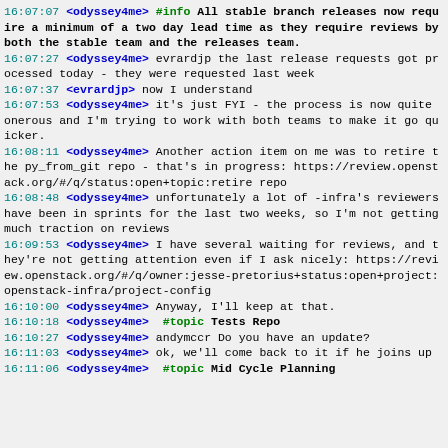16:07:07 <odyssey4me> #info All stable branch releases now require a minimum of a two day lead time as they require reviews by both the stable team and the releases team.
16:07:27 <odyssey4me> evrardjp the last release requests got processed today - they were requested last week
16:07:37 <evrardjp> now I understand
16:07:53 <odyssey4me> it's just FYI - the process is now quite onerous and I'm trying to work with both teams to make it go quicker.
16:08:11 <odyssey4me> Another action item on me was to retire the py_from_git repo - that's in progress: https://review.openstack.org/#/q/status:open+topic:retire repo
16:08:48 <odyssey4me> unfortunately a lot of -infra's reviewers have been in sprints for the last two weeks, so I'm not getting much traction on reviews
16:09:53 <odyssey4me> I have several waiting for reviews, and they're not getting attention even if I ask nicely: https://review.openstack.org/#/q/owner:jesse-pretorius+status:open+project:openstack-infra/project-config
16:10:00 <odyssey4me> Anyway, I'll keep at that.
16:10:18 <odyssey4me> #topic Tests Repo
16:10:27 <odyssey4me> andymccr Do you have an update?
16:11:03 <odyssey4me> ok, we'll come back to it if he joins up
16:11:06 <odyssey4me> #topic Mid Cycle Planning